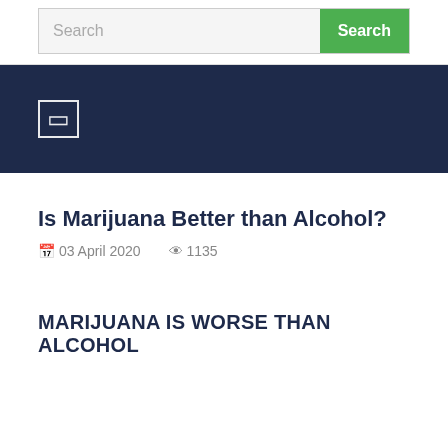Search
[Figure (screenshot): Dark navy navigation bar with a white rectangle/hamburger icon on the left]
Is Marijuana Better than Alcohol?
03 April 2020   1135
MARIJUANA IS WORSE THAN ALCOHOL